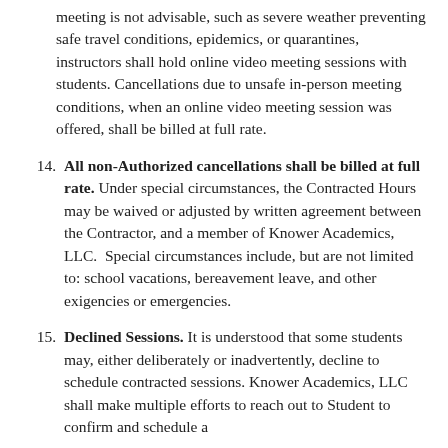meeting is not advisable, such as severe weather preventing safe travel conditions, epidemics, or quarantines, instructors shall hold online video meeting sessions with students. Cancellations due to unsafe in-person meeting conditions, when an online video meeting session was offered, shall be billed at full rate.
14. All non-Authorized cancellations shall be billed at full rate. Under special circumstances, the Contracted Hours may be waived or adjusted by written agreement between the Contractor, and a member of Knower Academics, LLC.  Special circumstances include, but are not limited to: school vacations, bereavement leave, and other exigencies or emergencies.
15. Declined Sessions. It is understood that some students may, either deliberately or inadvertently, decline to schedule contracted sessions. Knower Academics, LLC shall make multiple efforts to reach out to Student to confirm and schedule a